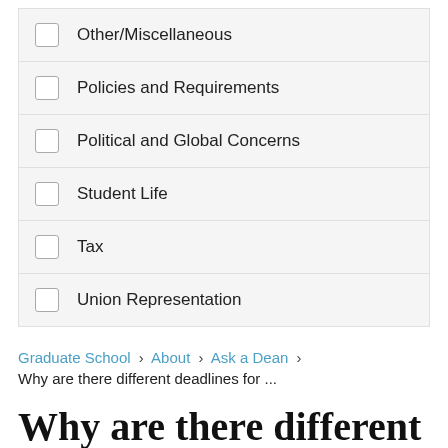Other/Miscellaneous
Policies and Requirements
Political and Global Concerns
Student Life
Tax
Union Representation
Graduate School › About › Ask a Dean ›
Why are there different deadlines for ...
Why are there different